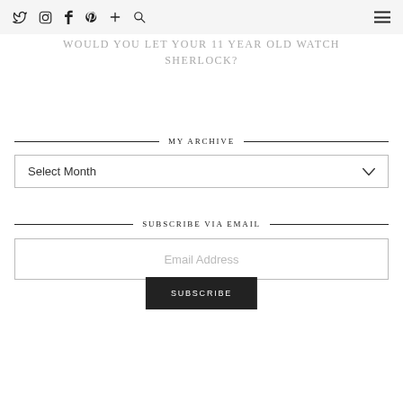Twitter Instagram Facebook Pinterest Plus Search [hamburger menu]
WOULD YOU LET YOUR 11 YEAR OLD WATCH SHERLOCK?
MY ARCHIVE
Select Month
SUBSCRIBE VIA EMAIL
Email Address
SUBSCRIBE